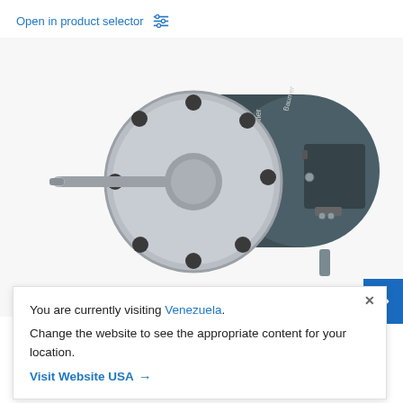Open in product selector
[Figure (photo): Baumer incremental heavy duty encoder - dark grey cylindrical encoder with flanged face plate showing mounting holes and protruding shaft, with rectangular connector box on the side]
You are currently visiting Venezuela.
Change the website to see the appropriate content for your location.
Visit Website USA →
the unrivalled benchmark
Incremental HeavyDuty encoders